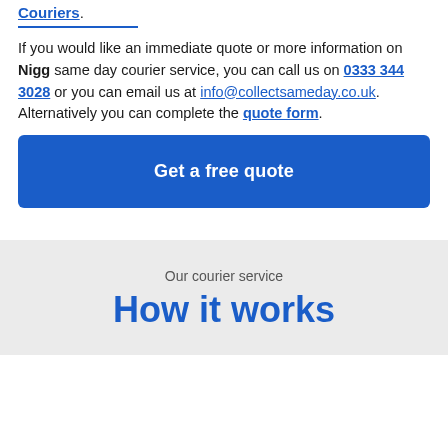Couriers.
If you would like an immediate quote or more information on Nigg same day courier service, you can call us on 0333 344 3028 or you can email us at info@collectsameday.co.uk. Alternatively you can complete the quote form.
Get a free quote
Our courier service
How it works